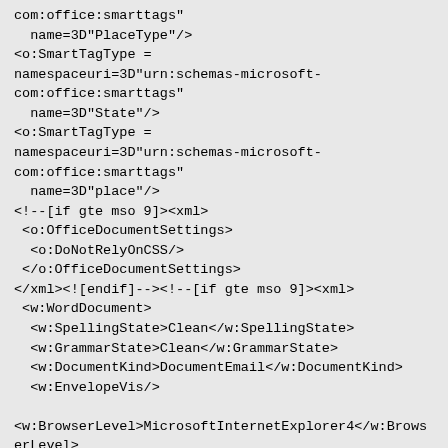com:office:smarttags"
  name=3D"PlaceType"/>
<o:SmartTagType =
namespaceuri=3D"urn:schemas-microsoft-com:office:smarttags"
  name=3D"State"/>
<o:SmartTagType =
namespaceuri=3D"urn:schemas-microsoft-com:office:smarttags"
  name=3D"place"/>
<!--[if gte mso 9]><xml>
 <o:OfficeDocumentSettings>
  <o:DoNotRelyOnCSS/>
 </o:OfficeDocumentSettings>
</xml><![endif]--><!--[if gte mso 9]><xml>
 <w:WordDocument>
  <w:SpellingState>Clean</w:SpellingState>
  <w:GrammarState>Clean</w:GrammarState>
  <w:DocumentKind>DocumentEmail</w:DocumentKind>
  <w:EnvelopeVis/>

<w:BrowserLevel>MicrosoftInternetExplorer4</w:BrowserLevel>
 </w:WordDocument>
</xml><![endif]--><!--[if !mso]>
<style>
st1\:*{behavior:url(#default#ieooui) }
</style>
<![if